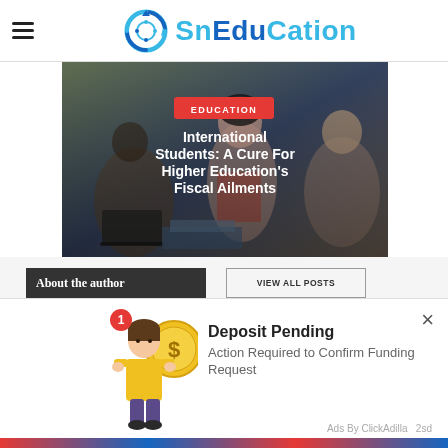SnEduCation
[Figure (photo): Students studying together around a laptop and books, with an overlay showing EDUCATION badge and article title 'International Students: A Cure For Higher Education's Fiscal Ailments']
International Students: A Cure For Higher Education's Fiscal Ailments
About the author
VIEW ALL POSTS
This we... assum...
[Figure (illustration): Ad overlay showing a cartoon person with a dollar coin. Title: Deposit Pending. Subtitle: Action Required to Confirm Funding Request. Ads By ClickAdilla 2sd.]